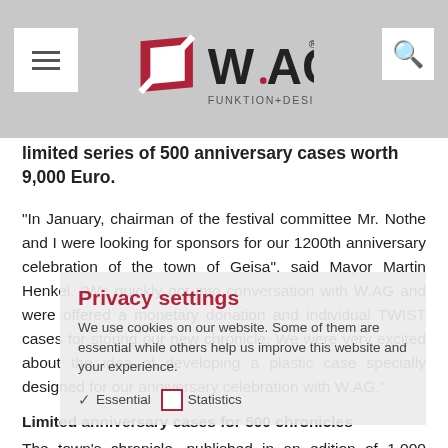WAG FUNKTION+DESIGN
limited series of 500 anniversary cases worth 9,000 Euro.
“In January, chairman of the festival committee Mr. Nothe and I were looking for sponsors for our 1200th anniversary celebration of the town of Geisa”, said Mayor Martin Henkel. “We quickly got into conversation with W.AG and were offered a monetary donation and individual TWIST cases for storing our new chronicle. We were very excited about the idea of developing a plastic case specially designed for our anniversary celebration with W.AG.”
Limited anniversary cases for 500 chronicles
The town’s chronicle, published in an edition of 1,000 copies, is offered as a limited edition in 500 cases. “We thought about how we could contribute to the anniversary celebration of the town of Geisa and had the idea to donat
[Figure (other): Privacy settings overlay with title 'Privacy settings', body text about cookies, and checkboxes for Essential and Statistics]